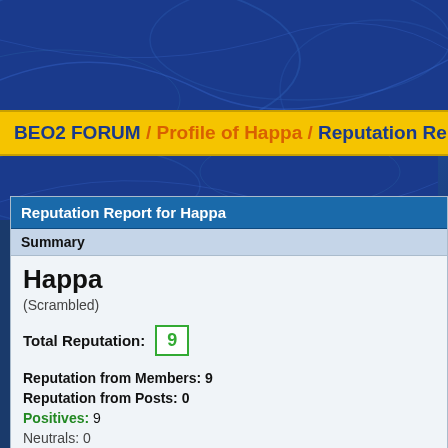BEO2 FORUM / Profile of Happa / Reputation Rep
Reputation Report for Happa
Summary
Happa
(Scrambled)
Total Reputation: 9
Reputation from Members: 9
Reputation from Posts: 0
Positives: 9
Neutrals: 0
Negatives: 0 * - Negative reputation is currently disabled
Comments
Soná Ćõõi (84) · Last updated 06-15-2015, 08:38 PM